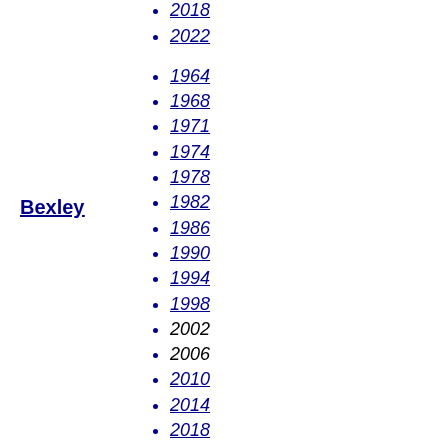2014
2018
2022
1964
1968
1971
1974
1978
1982
1986
1990
1994
1998
2002
2006
2010
2014
2018
2022
1964
1968
1971
1974
1978
Bexley